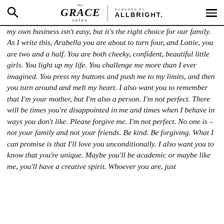The Grace Tales | POWERED BY ALLBRIGHT.
my own business isn't easy, but it's the right choice for our family. As I write this, Arabella you are about to turn four, and Lottie, you are two and a half. You are both cheeky, confident, beautiful little girls. You light up my life. You challenge me more than I ever imagined. You press my buttons and push me to my limits, and then you turn around and melt my heart. I also want you to remember that I'm your mother, but I'm also a person. I'm not perfect. There will be times you're disappointed in me and times when I behave in ways you don't like. Please forgive me. I'm not perfect. No one is – not your family and not your friends. Be kind. Be forgiving. What I can promise is that I'll love you unconditionally. I also want you to know that you're unique. Maybe you'll be academic or maybe like me, you'll have a creative spirit. Whoever you are, just